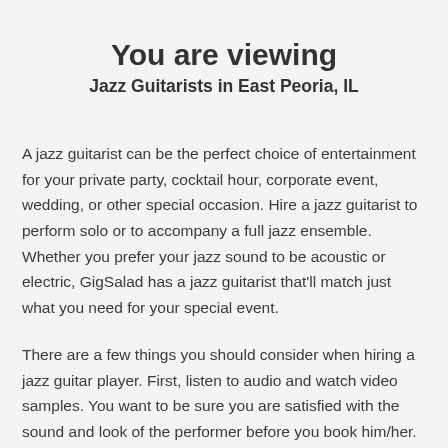You are viewing
Jazz Guitarists in East Peoria, IL
A jazz guitarist can be the perfect choice of entertainment for your private party, cocktail hour, corporate event, wedding, or other special occasion. Hire a jazz guitarist to perform solo or to accompany a full jazz ensemble. Whether you prefer your jazz sound to be acoustic or electric, GigSalad has a jazz guitarist that'll match just what you need for your special event.
There are a few things you should consider when hiring a jazz guitar player. First, listen to audio and watch video samples. You want to be sure you are satisfied with the sound and look of the performer before you book him/her. Next, get references and read reviews. Talk to people in the area who have seen the performer